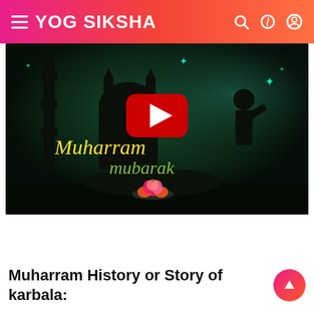YOG SIKSHA
[Figure (screenshot): YouTube video thumbnail showing a dark Islamic scene with mosque silhouettes and teal glow. Yellow italic text reads 'Muharram' and green italic text reads 'mubarak'. A red YouTube play button is centered. A pink lotus flower decoration is at the bottom center.]
Muharram History or Story of karbala: